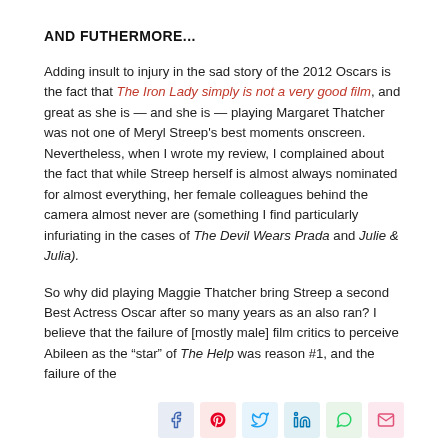AND FUTHERMORE...
Adding insult to injury in the sad story of the 2012 Oscars is the fact that The Iron Lady simply is not a very good film, and great as she is — and she is — playing Margaret Thatcher was not one of Meryl Streep's best moments onscreen. Nevertheless, when I wrote my review, I complained about the fact that while Streep herself is almost always nominated for almost everything, her female colleagues behind the camera almost never are (something I find particularly infuriating in the cases of The Devil Wears Prada and Julie & Julia).
So why did playing Maggie Thatcher bring Streep a second Best Actress Oscar after so many years as an also ran? I believe that the failure of [mostly male] film critics to perceive Abileen as the "star" of The Help was reason #1, and the failure of the